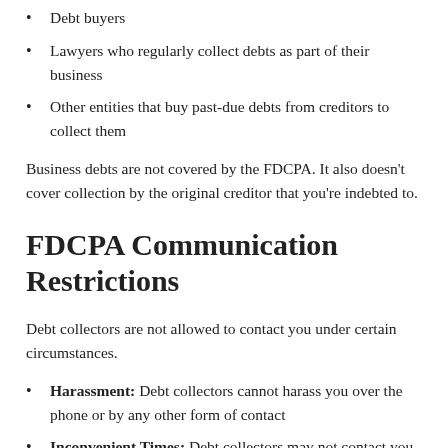Debt buyers
Lawyers who regularly collect debts as part of their business
Other entities that buy past-due debts from creditors to collect them
Business debts are not covered by the FDCPA. It also doesn't cover collection by the original creditor that you're indebted to.
FDCPA Communication Restrictions
Debt collectors are not allowed to contact you under certain circumstances.
Harassment: Debt collectors cannot harass you over the phone or by any other form of contact
Inconvenient Times: Debt collectors may not contact you at inappropriate hours or places. This includes before 8:00 a.m. and after 9:00 p.m. Contacting your place of work is also not allowed under the FDCPA.